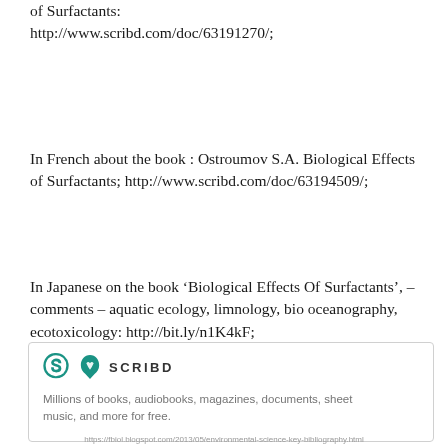of Surfactants: http://www.scribd.com/doc/63191270/;
In French about the book : Ostroumov S.A. Biological Effects of Surfactants; http://www.scribd.com/doc/63194509/;
In Japanese on the book ‘Biological Effects Of Surfactants’, – comments – aquatic ecology, limnology, bio oceanography, ecotoxicology: http://bit.ly/n1K4kF;
[Figure (logo): Scribd logo and tagline: 'Millions of books, audiobooks, magazines, documents, sheet music, and more for free.']
https://fbiol.blogspot.com/2013/05/environmental-science-key-bibliography.html